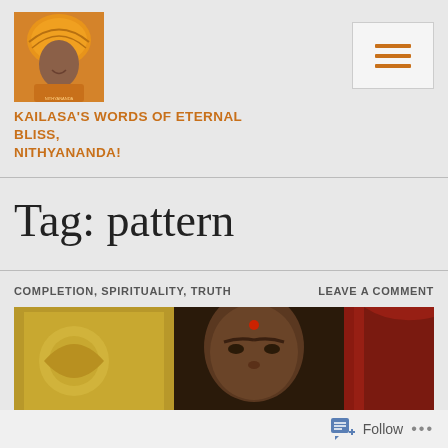[Figure (photo): Portrait photo of a person wearing an orange turban and robes, smiling]
KAILASA'S WORDS OF ETERNAL BLISS, NITHYANANDA!
[Figure (other): Hamburger menu icon (three horizontal lines) in a rectangular button]
Tag: pattern
COMPLETION, SPIRITUALITY, TRUTH
LEAVE A COMMENT
[Figure (photo): Close-up photo of a person with a red bindi on forehead, golden decorative background and red fabric visible]
Follow